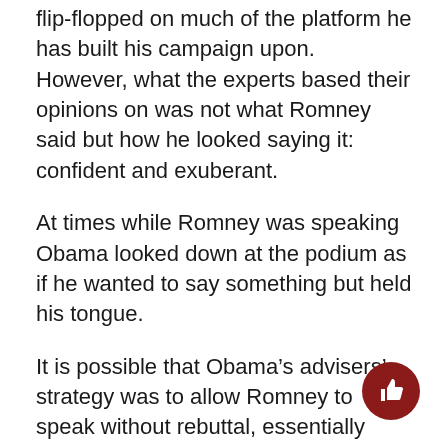flip-flopped on much of the platform he has built his campaign upon. However, what the experts based their opinions on was not what Romney said but how he looked saying it: confident and exuberant.
At times while Romney was speaking Obama looked down at the podium as if he wanted to say something but held his tongue.
It is possible that Obama's advisers' strategy was to allow Romney to speak without rebuttal, essentially giving him enough rope to hang himself. After all, that is what he had been doing in recent months with incredible statements such as the infamous “47 percent” speech, in which he accused almost half of American voters of being non-taxpaying leeches. If that was the plan, it backfired horribly.
Surprisingly, Obama did little to defend his record